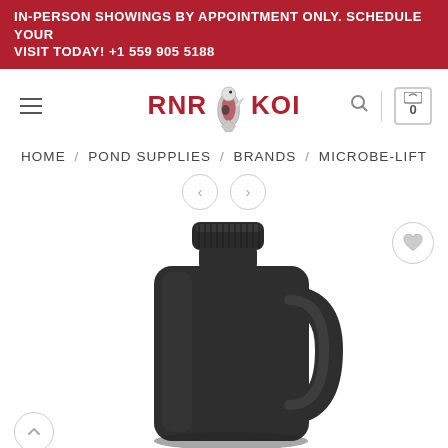IN-PERSON SHOWINGS BY APPOINTMENT ONLY. SCHEDULE YOUR VISIT TODAY! +1 559 905 5188
[Figure (logo): RNR Koi logo with red text and koi fish illustration in center]
HOME / POND SUPPLIES / BRANDS / MICROBE-LIFT
[Figure (photo): Dark brown/black plastic gallon jug with handle and screw cap lid, product photo on white background]